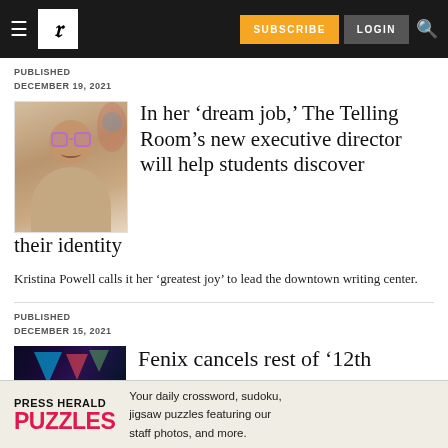SUBSCRIBE  LOGIN
PUBLISHED
DECEMBER 19, 2021
In her ‘dream job,’ The Telling Room’s new executive director will help students discover their identity
Kristina Powell calls it her ‘greatest joy’ to lead the downtown writing center.
PUBLISHED
DECEMBER 15, 2021
Fenix cancels rest of ‘12th
[Figure (other): Advertisement banner: PRESS HERALD PUZZLES - Your daily crossword, sudoku, jigsaw puzzles featuring our staff photos, and more.]